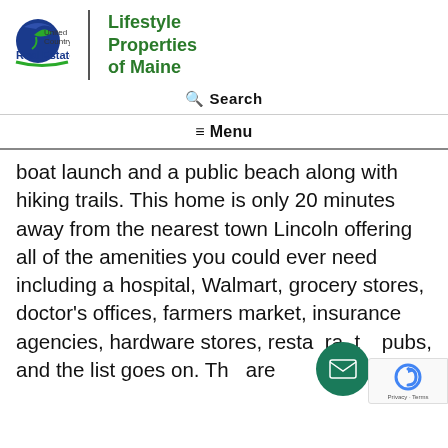[Figure (logo): United Country Real Estate | Lifestyle Properties of Maine logo with globe and leaf icon]
Search
≡ Menu
boat launch and a public beach along with hiking trails. This home is only 20 minutes away from the nearest town Lincoln offering all of the amenities you could ever need including a hospital, Walmart, grocery stores, doctor's offices, farmers market, insurance agencies, hardware stores, restaurants, pubs, and the list goes on. There are